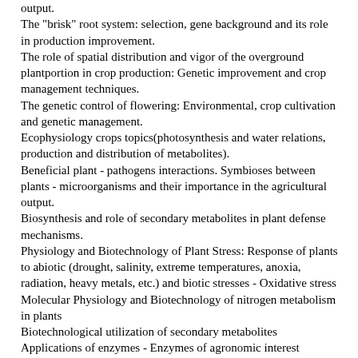output.
The "brisk" root system: selection, gene background and its role in production improvement.
The role of spatial distribution and vigor of the overground plantportion in crop production: Genetic improvement and crop management techniques.
The genetic control of flowering: Environmental, crop cultivation and genetic management.
Ecophysiology crops topics(photosynthesis and water relations, production and distribution of metabolites).
Beneficial plant - pathogens interactions. Symbioses between plants - microorganisms and their importance in the agricultural output.
Biosynthesis and role of secondary metabolites in plant defense mechanisms.
Physiology and Biotechnology of Plant Stress: Response of plants to abiotic (drought, salinity, extreme temperatures, anoxia, radiation, heavy metals, etc.) and biotic stresses - Oxidative stress
Molecular Physiology and Biotechnology of nitrogen metabolism in plants
Biotechnological utilization of secondary metabolites
Applications of enzymes - Enzymes of agronomic interest
Biotechnological applications of in vitro plant cell culture